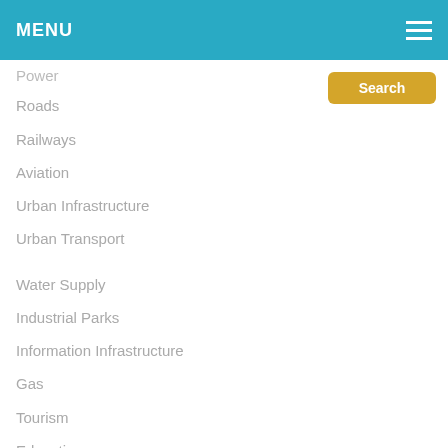MENU
Power
Roads
Railways
Aviation
Urban Infrastructure
Urban Transport
Water Supply
Industrial Parks
Information Infrastructure
Gas
Tourism
Education
Health
Public Private Partnership
About PPP
PPP Scenario
Institutional Framework GIDB
Legal Framework-PPP